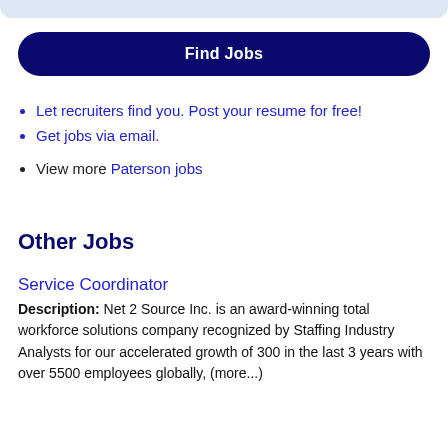[Figure (other): Light blue rounded top bar/header strip]
Find Jobs
Let recruiters find you. Post your resume for free!
Get jobs via email.
View more Paterson jobs
Other Jobs
Service Coordinator
Description: Net 2 Source Inc. is an award-winning total workforce solutions company recognized by Staffing Industry Analysts for our accelerated growth of 300 in the last 3 years with over 5500 employees globally, (more...)